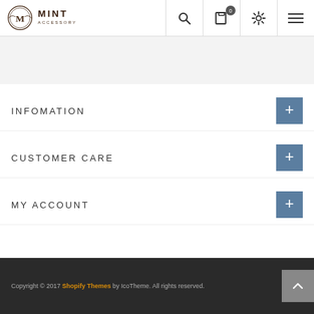Mint Accessory — Navigation header with search, cart (0), settings, and menu icons
INFOMATION
CUSTOMER CARE
MY ACCOUNT
Copyright © 2017 Shopify Themes by IcoTheme. All rights reserved.